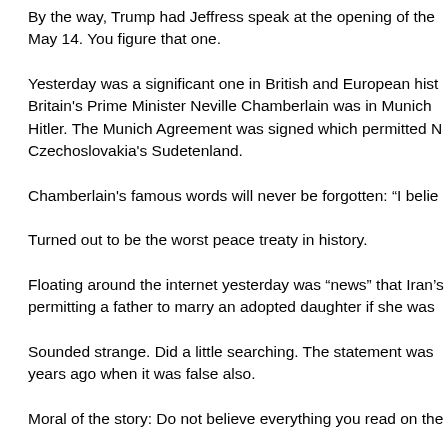By the way, Trump had Jeffress speak at the opening of the May 14. You figure that one.
Yesterday was a significant one in British and European hist Britain's Prime Minister Neville Chamberlain was in Munich Hitler. The Munich Agreement was signed which permitted N Czechoslovakia's Sudetenland.
Chamberlain's famous words will never be forgotten: “I belie
Turned out to be the worst peace treaty in history.
Floating around the internet yesterday was “news” that Iran’s permitting a father to marry an adopted daughter if she was
Sounded strange. Did a little searching. The statement was years ago when it was false also.
Moral of the story: Do not believe everything you read on the